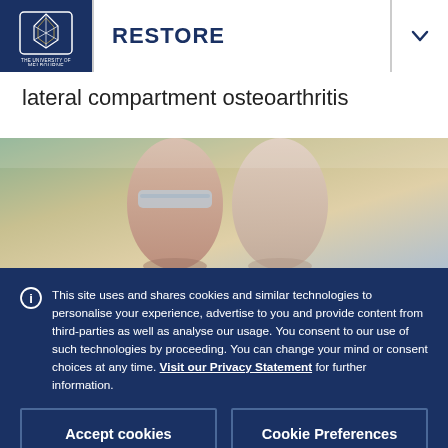RESTORE
lateral compartment osteoarthritis
[Figure (photo): Close-up photo of a person's legs/knees, appearing to show knees with a brace or support, with a blurred outdoor background.]
This site uses and shares cookies and similar technologies to personalise your experience, advertise to you and provide content from third-parties as well as analyse our usage. You consent to our use of such technologies by proceeding. You can change your mind or consent choices at any time. Visit our Privacy Statement for further information.
Accept cookies
Cookie Preferences